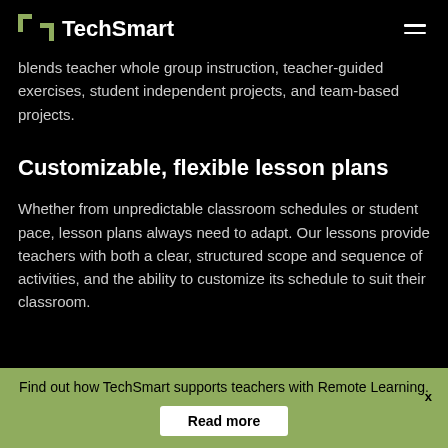TechSmart
blends teacher whole group instruction, teacher-guided exercises, student independent projects, and team-based projects.
Customizable, flexible lesson plans
Whether from unpredictable classroom schedules or student pace, lesson plans always need to adapt. Our lessons provide teachers with both a clear, structured scope and sequence of activities, and the ability to customize its schedule to suit their classroom.
Find out how TechSmart supports teachers with Remote Learning.
Read more